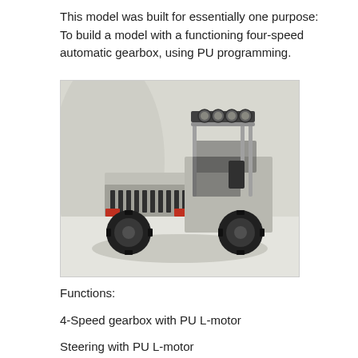This model was built for essentially one purpose: To build a model with a functioning four-speed automatic gearbox, using PU programming.
[Figure (photo): A LEGO Technic model of an off-road SUV (resembling a Jeep Cherokee) built in grey and black, with a roof rack and four round lights on top, a front grille, and large black tyres. The model is photographed on a white background.]
Functions:
4-Speed gearbox with PU L-motor
Steering with PU L-motor